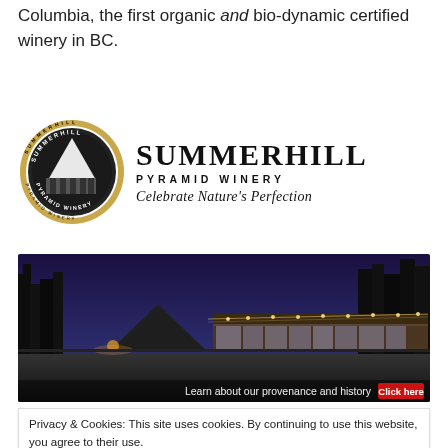Columbia, the first organic and bio-dynamic certified winery in BC.
[Figure (logo): Summerhill Pyramid Winery logo: circular badge on left with pyramid building illustration and text 'SUMMERHILL PYRAMID WINERY' around it; large bold text 'SUMMERHILL' / 'PYRAMID WINERY' and italic tagline 'Celebrate Nature's Perfection' on right]
[Figure (photo): Nighttime photograph of Summerhill Pyramid Winery exterior with pyramid structure and illuminated restaurant/winery building, trees silhouetted against purple dusk sky. Overlay text: 'Learn about our provenance and history' with red 'Click here' button]
Privacy & Cookies: This site uses cookies. By continuing to use this website, you agree to their use.
To find out more, including how to control cookies, see here: Cookie Policy
Close and accept